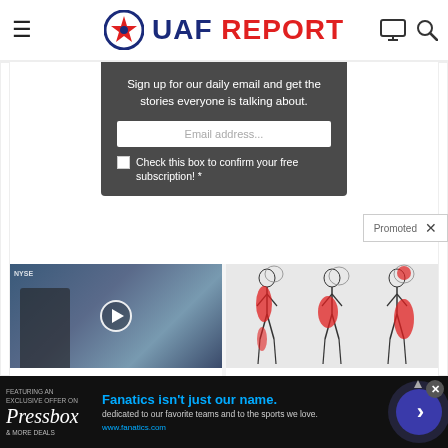UAF REPORT
Sign up for our daily email and get the stories everyone is talking about.
Email address...
Check this box to confirm your free subscription! *
Promoted ×
[Figure (screenshot): Video thumbnail showing man in suit at NYSE, with play button overlay]
Biden Probably Wants This Video Destroyed — US Dollar On Path
[Figure (illustration): Medical illustration showing body figures with red highlighted pain areas on legs and hips]
Suffering From Chronic
Fanatics isn't just our name. dedicated to our favorite teams and to the sports we love. www.fanatics.com